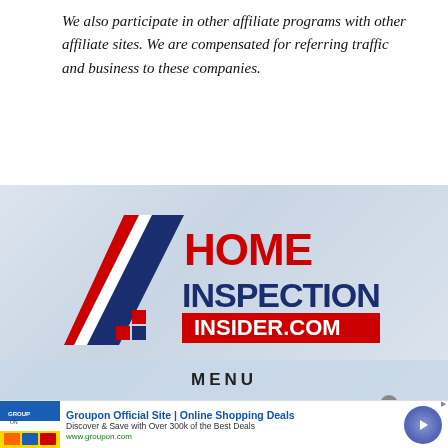We also participate in other affiliate programs with other affiliate sites. We are compensated for referring traffic and business to these companies.
[Figure (logo): Home Inspection Insider.com logo with red and blue diagonal stripe graphic and bold red/blue text]
MENU
Groupon Official Site | Online Shopping Deals
Discover & Save with Over 300k of the Best Deals
www.groupon.com